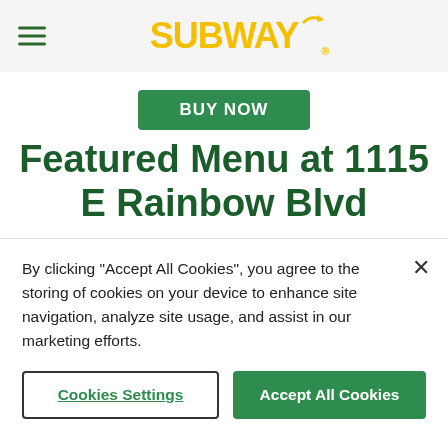SUBWAY
[Figure (screenshot): Partially visible green 'BUY NOW' button]
Featured Menu at 1115 E Rainbow Blvd
[Figure (photo): Close-up image of a Subway sandwich bread loaf, golden-brown baked roll]
By clicking "Accept All Cookies", you agree to the storing of cookies on your device to enhance site navigation, analyze site usage, and assist in our marketing efforts.
Cookies Settings | Accept All Cookies